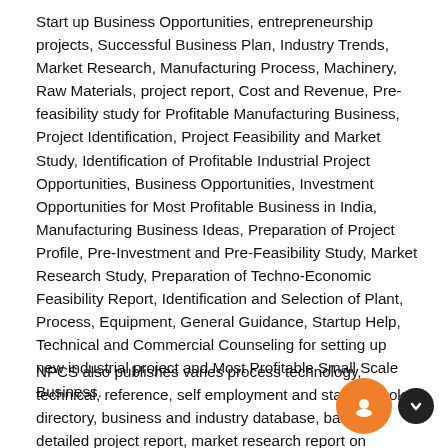Start up Business Opportunities, entrepreneurship projects, Successful Business Plan, Industry Trends, Market Research, Manufacturing Process, Machinery, Raw Materials, project report, Cost and Revenue, Pre-feasibility study for Profitable Manufacturing Business, Project Identification, Project Feasibility and Market Study, Identification of Profitable Industrial Project Opportunities, Business Opportunities, Investment Opportunities for Most Profitable Business in India, Manufacturing Business Ideas, Preparation of Project Profile, Pre-Investment and Pre-Feasibility Study, Market Research Study, Preparation of Techno-Economic Feasibility Report, Identification and Selection of Plant, Process, Equipment, General Guidance, Startup Help, Technical and Commercial Counseling for setting up new industrial project and Most Profitable Small Scale Business.
NPCS also publishes varies process technology, technical, reference, self employment and startup books, directory, business and industry database, bankable detailed project report, market research report on various industries, small scale industry and profit making business. Besides being used by manufacturers, industrialists and entrepreneurs, our publications are also used by professionals including project engineers, information